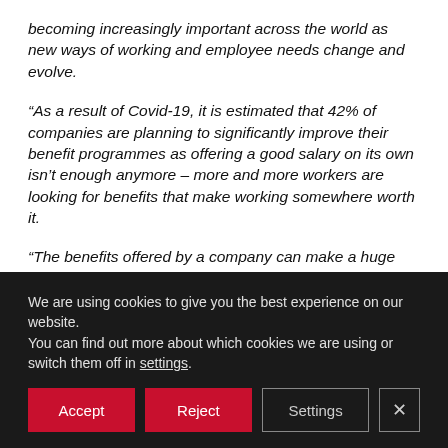becoming increasingly important across the world as new ways of working and employee needs change and evolve.
“As a result of Covid-19, it is estimated that 42% of companies are planning to significantly improve their benefit programmes as offering a good salary on its own isn’t enough anymore – more and more workers are looking for benefits that make working somewhere worth it.
“The benefits offered by a company can make a huge difference to an employee’s wellbeing, productivity and loyalty. This ultimately benefits the company too as it will
We are using cookies to give you the best experience on our website.
You can find out more about which cookies we are using or switch them off in settings.